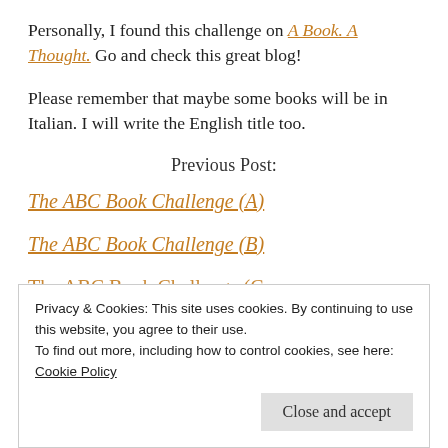Personally, I found this challenge on A Book. A Thought. Go and check this great blog!
Please remember that maybe some books will be in Italian. I will write the English title too.
Previous Post:
The ABC Book Challenge (A)
The ABC Book Challenge (B)
The ABC Book Challenge (C) [partial, cut off]
Privacy & Cookies: This site uses cookies. By continuing to use this website, you agree to their use. To find out more, including how to control cookies, see here: Cookie Policy
Close and accept